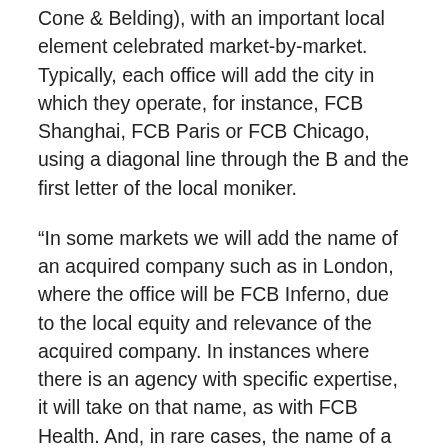Cone & Belding), with an important local element celebrated market-by-market. Typically, each office will add the city in which they operate, for instance, FCB Shanghai, FCB Paris or FCB Chicago, using a diagonal line through the B and the first letter of the local moniker.
“In some markets we will add the name of an acquired company such as in London, where the office will be FCB Inferno, due to the local equity and relevance of the acquired company. In instances where there is an agency with specific expertise, it will take on that name, as with FCB Health. And, in rare cases, the name of a highly respected creative leader will be used to further enhance the office’s delivery and reputation. That is the situation in New York, where the agency is being renamed FCB Garfinkel.”
Importantly, Howard Draft remains executive chairman and key advisor to Murray. “Howard has been incredibly supportive of me and the direction we are taking the